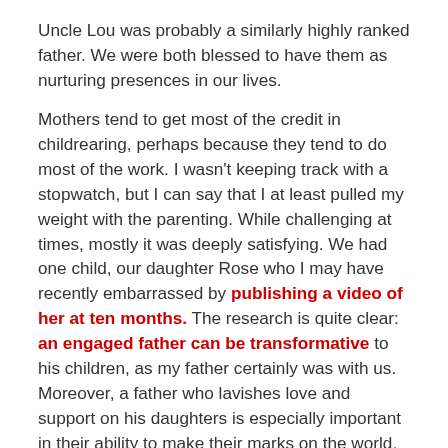Uncle Lou was probably a similarly highly ranked father. We were both blessed to have them as nurturing presences in our lives.
Mothers tend to get most of the credit in childrearing, perhaps because they tend to do most of the work. I wasn't keeping track with a stopwatch, but I can say that I at least pulled my weight with the parenting. While challenging at times, mostly it was deeply satisfying. We had one child, our daughter Rose who I may have recently embarrassed by publishing a video of her at ten months. The research is quite clear: an engaged father can be transformative to his children, as my father certainly was with us. Moreover, a father who lavishes love and support on his daughters is especially important in their ability to make their marks on the world.
I saw this in my own family where arguably all of the women have succeeded at least as well as the men in the family. My father never treated his daughters differently and set high expectations for them. The oldest has a degree in nursing like our mother. The next oldest has a long and successful career in the space industry and a masters degree in biophysics as well.